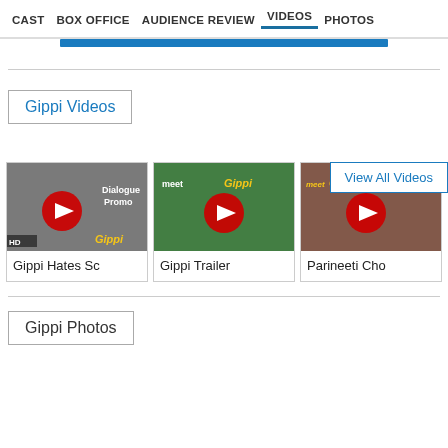CAST | BOX OFFICE | AUDIENCE REVIEW | VIDEOS | PHOTOS
Gippi Videos
View All Videos
[Figure (screenshot): Video thumbnail: Gippi Hates Sc - Dialogue Promo with play button]
[Figure (screenshot): Video thumbnail: Gippi Trailer - meet Gippi with play button]
[Figure (screenshot): Video thumbnail: Parineeti Cho - meet Gippi with play button]
Gippi Photos